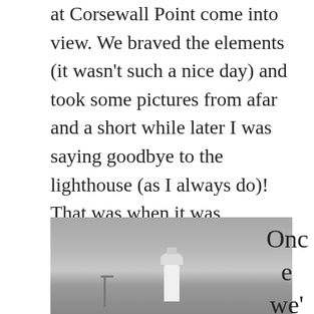at Corsewall Point come into view. We braved the elements (it wasn't such a nice day) and took some pictures from afar and a short while later I was saying goodbye to the lighthouse (as I always do)! That was when it was revealed to me that Corsewall Lighthouse Hotel would be our home for the next two nights. I was particularly excited as I'd visited the lighthouse before and seen how beautiful the hotel looked.
[Figure (photo): A black and white / greyscale photograph of a lighthouse at Corsewall Point, taken from a distance on an overcast day. A white lighthouse tower is visible in the centre of the image, with a pole to the left.]
Once we'